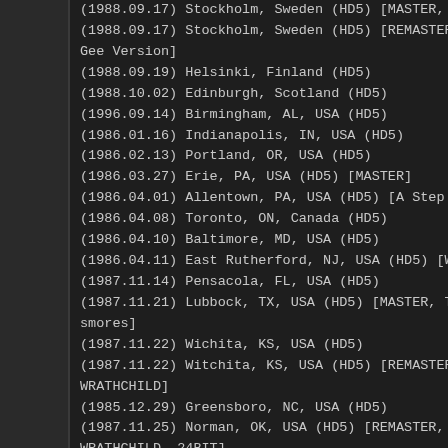(1988.09.17) Stockholm, Sweden (HD5) [MASTER, TM
(1988.09.17) Stockholm, Sweden (HD5) [REMASTER, Gee Version]
(1988.09.19) Helsinki, Finland (HD5)
(1988.10.02) Edinburgh, Scotland (HD5)
(1996.09.14) Birmingham, AL, USA (HD5)
(1986.01.16) Indianapolis, IN, USA (HD5)
(1986.02.13) Portland, OR, USA (HD5)
(1986.03.27) Erie, PA, USA (HD5) [MASTER]
(1986.04.01) Allentown, PA, USA (HD5) [A Step Ahead
(1986.04.08) Toronto, ON, Canada (HD5)
(1986.04.10) Baltimore, MD, USA (HD5)
(1986.04.11) East Rutherford, NJ, USA (HD5) [Wrathch
(1987.11.14) Pensacola, FL, USA (HD5)
(1987.11.21) Lubbock, TX, USA (HD5) [MASTER, Toe-smores]
(1987.11.22) Wichita, KS, USA (HD5)
(1987.11.22) Witchita, KS, USA (HD5) [REMASTER, WRATHCHILD]
(1985.12.29) Greensboro, NC, USA (HD5)
(1987.11.25) Norman, OK, USA (HD5) [REMASTER, WRATHCHILD, 24BIT]
KORN